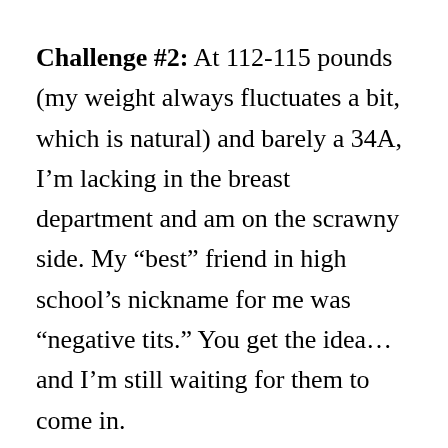Challenge #2: At 112-115 pounds (my weight always fluctuates a bit, which is natural) and barely a 34A, I'm lacking in the breast department and am on the scrawny side. My “best” friend in high school’s nickname for me was “negative tits.” You get the idea…and I’m still waiting for them to come in.
Solution: Meanwhile, ruching, twisting, and any feature with volume in the chest